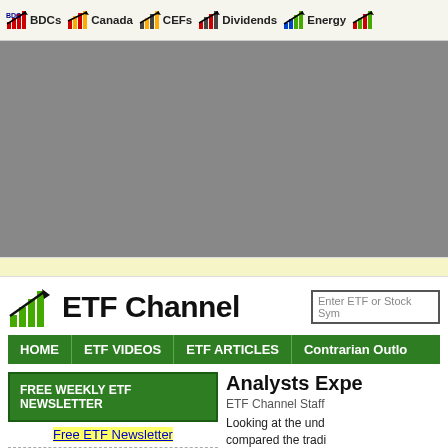BDCs | Canada | CEFs | Dividends | Energy
[Figure (screenshot): Gray advertisement banner area]
[Figure (logo): ETF Channel logo with green bar chart icon]
HOME | ETF VIDEOS | ETF ARTICLES | Contrarian Outlook
FREE WEEKLY ETF NEWSLETTER
Free ETF Newsletter
Analysts Expe...
ETF Channel Staff
Looking at the und... compared the tradi...